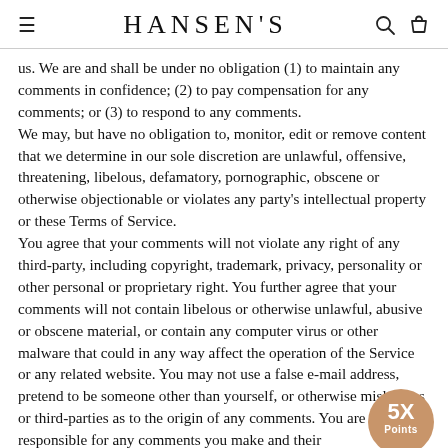HANSEN'S
us. We are and shall be under no obligation (1) to maintain any comments in confidence; (2) to pay compensation for any comments; or (3) to respond to any comments.
We may, but have no obligation to, monitor, edit or remove content that we determine in our sole discretion are unlawful, offensive, threatening, libelous, defamatory, pornographic, obscene or otherwise objectionable or violates any party's intellectual property or these Terms of Service.
You agree that your comments will not violate any right of any third-party, including copyright, trademark, privacy, personality or other personal or proprietary right. You further agree that your comments will not contain libelous or otherwise unlawful, abusive or obscene material, or contain any computer virus or other malware that could in any way affect the operation of the Service or any related website. You may not use a false e-mail address, pretend to be someone other than yourself, or otherwise mislead us or third-parties as to the origin of any comments. You are solely responsible for any comments you make and their
[Figure (infographic): A circular badge/seal in tan/beige color showing '5X' in large bold text and 'Points' below it, overlaid on the bottom-right of the text content.]